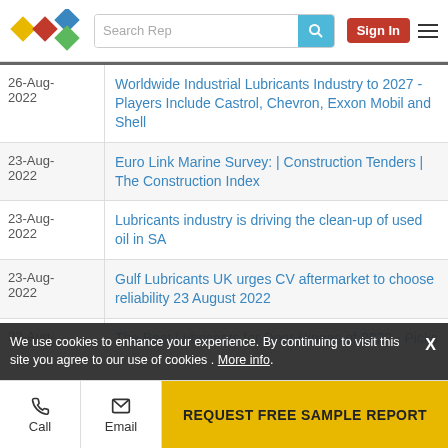Search Rep | Sign In
| Date | Title |
| --- | --- |
| 26-Aug-2022 | Worldwide Industrial Lubricants Industry to 2027 - Players Include Castrol, Chevron, Exxon Mobil and Shell |
| 23-Aug-2022 | Euro Link Marine Survey: | Construction Tenders | The Construction Index |
| 23-Aug-2022 | Lubricants industry is driving the clean-up of used oil in SA |
| 23-Aug-2022 | Gulf Lubricants UK urges CV aftermarket to choose reliability 23 August 2022 |
| 22-Aug- | The Best Lubricants for Door Hinges of 2022 - Picks |
We use cookies to enhance your experience. By continuing to visit this site you agree to our use of cookies . More info.
Call | Email | REQUEST FREE SAMPLE REPORT